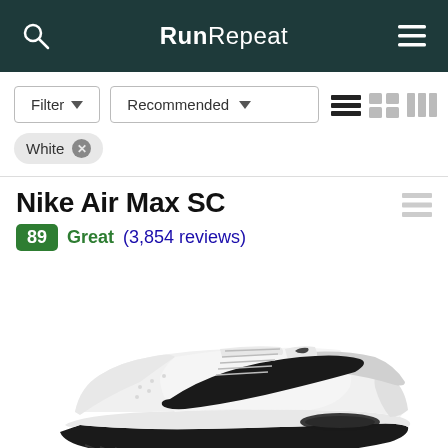RunRepeat
Filter Recommended
White ×
Nike Air Max SC
89 Great (3,854 reviews)
[Figure (photo): White Nike Air Max SC sneaker with black swoosh logo and black sole, side profile view on white background]